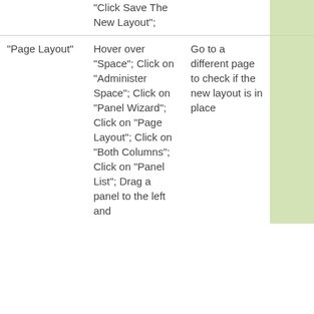|  | "Click Save The New Layout"; |  |  |
| "Page Layout" | Hover over "Space"; Click on "Administer Space"; Click on "Panel Wizard"; Click on "Page Layout"; Click on "Both Columns"; Click on "Panel List"; Drag a panel to the left and | Go to a different page to check if the new layout is in place |  |